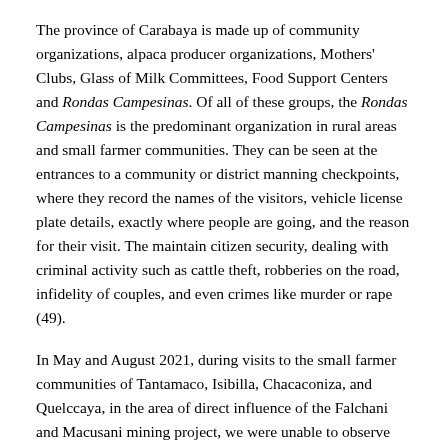The province of Carabaya is made up of community organizations, alpaca producer organizations, Mothers' Clubs, Glass of Milk Committees, Food Support Centers and Rondas Campesinas. Of all of these groups, the Rondas Campesinas is the predominant organization in rural areas and small farmer communities. They can be seen at the entrances to a community or district manning checkpoints, where they record the names of the visitors, vehicle license plate details, exactly where people are going, and the reason for their visit. The maintain citizen security, dealing with criminal activity such as cattle theft, robberies on the road, infidelity of couples, and even crimes like murder or rape (49).
In May and August 2021, during visits to the small farmer communities of Tantamaco, Isibilla, Chacaconiza, and Quelccaya, in the area of direct influence of the Falchani and Macusani mining project, we were unable to observe the presence of police officers who are guarding the roads or patrolling in the communities as they should be. This makes it easier to understand why the Rondas Campesinas, in the districts of Macusani and Corani, had to strengthen their organizations and implement their citizen security measures according to their traditional ways and customs. There , each checkpoint has a video surveillance system (50).